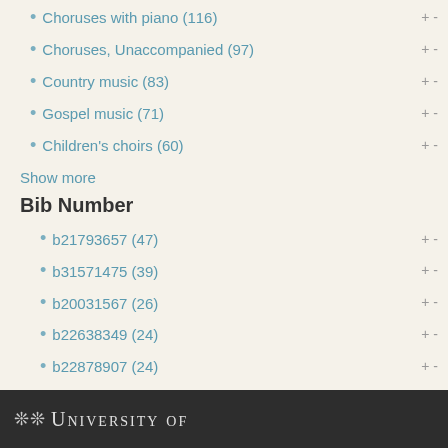Choruses with piano (116) + -
Choruses, Unaccompanied (97) + -
Country music (83) + -
Gospel music (71) + -
Children's choirs (60) + -
Show more
Bib Number
b21793657 (47) + -
b31571475 (39) + -
b20031567 (26) + -
b22638349 (24) + -
b22878907 (24) + -
b21651644 (23) + -
b30871505 (22) + -
b34297728 (22) + -
b22612300 (21) + -
b22366829 (20) + -
Show more
University of...